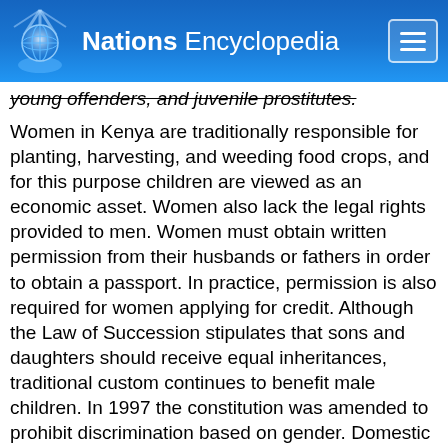Nations Encyclopedia
young offenders, and juvenile prostitutes.
Women in Kenya are traditionally responsible for planting, harvesting, and weeding food crops, and for this purpose children are viewed as an economic asset. Women also lack the legal rights provided to men. Women must obtain written permission from their husbands or fathers in order to obtain a passport. In practice, permission is also required for women applying for credit. Although the Law of Succession stipulates that sons and daughters should receive equal inheritances, traditional custom continues to benefit male children. In 1997 the constitution was amended to prohibit discrimination based on gender. Domestic violence against women is widespread, and it is viewed as a family issue not a criminal matter. Female genital mutilation is widely practiced, especially among certain ethnic groups.
Ethnic tensions between Kenyan tribal groups are pronounced. Tribal violence has occurred in the Rift Valley, as